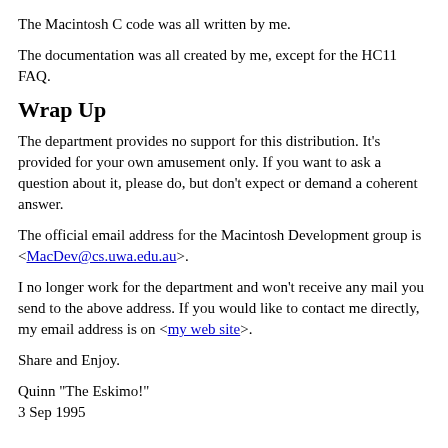The Macintosh C code was all written by me.
The documentation was all created by me, except for the HC11 FAQ.
Wrap Up
The department provides no support for this distribution. It's provided for your own amusement only. If you want to ask a question about it, please do, but don't expect or demand a coherent answer.
The official email address for the Macintosh Development group is <MacDev@cs.uwa.edu.au>.
I no longer work for the department and won't receive any mail you send to the above address. If you would like to contact me directly, my email address is on <my web site>.
Share and Enjoy.
Quinn "The Eskimo!"
3 Sep 1995